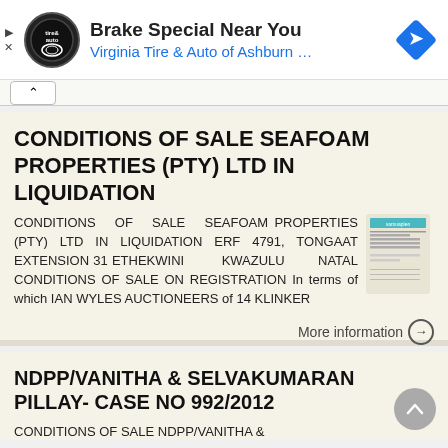[Figure (screenshot): Ad banner for Virginia Tire & Auto of Ashburn showing Brake Special Near You]
CONDITIONS OF SALE SEAFOAM PROPERTIES (PTY) LTD IN LIQUIDATION
CONDITIONS OF SALE SEAFOAM PROPERTIES (PTY) LTD IN LIQUIDATION ERF 4791, TONGAAT EXTENSION 31 ETHEKWINI KWAZULU NATAL CONDITIONS OF SALE ON REGISTRATION In terms of which IAN WYLES AUCTIONEERS of 14 KLINKER
More information →
NDPP/VANITHA & SELVAKUMARAN PILLAY- CASE NO 992/2012
CONDITIONS OF SALE NDPP/VANITHA &